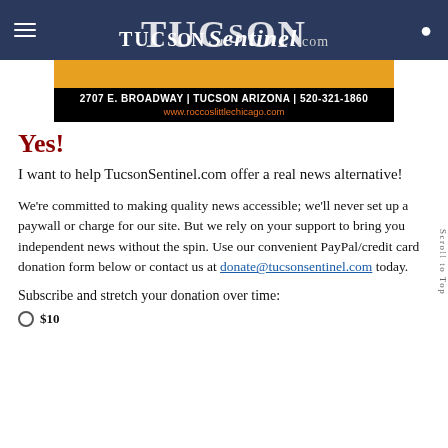TucsonSentinel.com
[Figure (photo): Advertisement banner for Rocco's Little Chicago restaurant showing address 2707 E. Broadway, Tucson Arizona, 520-321-1860 and website www.roccoslittlechicago.com]
Yes!
I want to help TucsonSentinel.com offer a real news alternative!
We're committed to making quality news accessible; we'll never set up a paywall or charge for our site. But we rely on your support to bring you independent news without the spin. Use our convenient PayPal/credit card donation form below or contact us at donate@tucsonsentinel.com today.
Subscribe and stretch your donation over time: